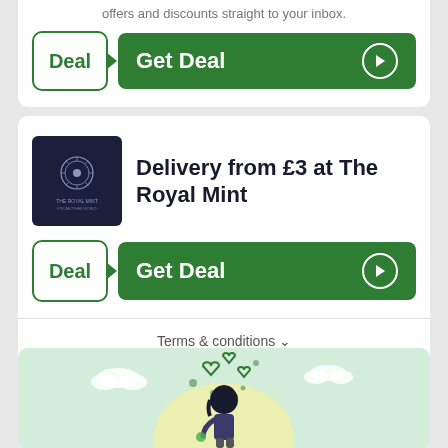offers and discounts straight to your inbox.
[Figure (screenshot): Get Deal button with Deal badge in green]
Delivery from £3 at The Royal Mint
[Figure (logo): The Royal Mint logo - dark navy square with circular emblem]
[Figure (screenshot): Get Deal button with Deal badge in green]
Terms & conditions ˅
[Figure (illustration): Illustration of a woman with hearts and clouds on a light green background]